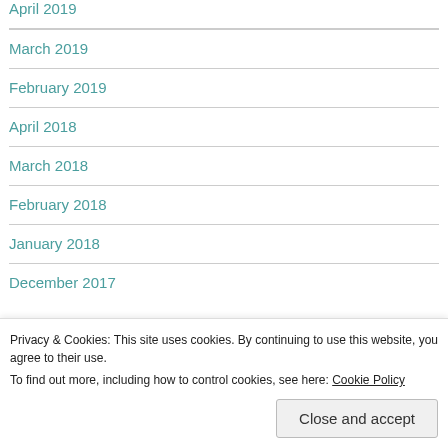April 2019
March 2019
February 2019
April 2018
March 2018
February 2018
January 2018
December 2017
August 2017
Privacy & Cookies: This site uses cookies. By continuing to use this website, you agree to their use. To find out more, including how to control cookies, see here: Cookie Policy
Close and accept